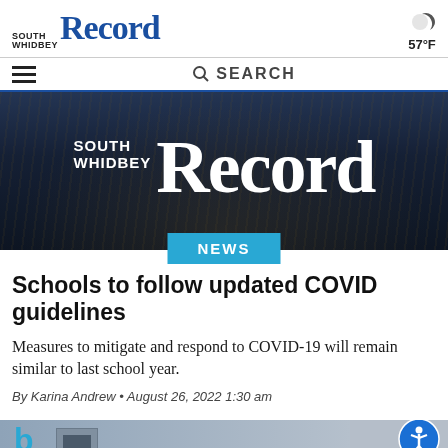SOUTH WHIDBEY RECORD — 57°F
[Figure (screenshot): South Whidbey Record newspaper website header with logo, weather icon showing 57°F, hamburger menu, and search bar]
[Figure (photo): Hero banner image showing South Whidbey Record logo overlaid on a dark aerial crowd photo. A teal NEWS tag appears at the bottom center.]
Schools to follow updated COVID guidelines
Measures to mitigate and respond to COVID-19 will remain similar to last school year.
By Karina Andrew • August 26, 2022 1:30 am
[Figure (photo): Partial photo at the bottom of the article, showing what appears to be an office or school setting with equipment visible.]